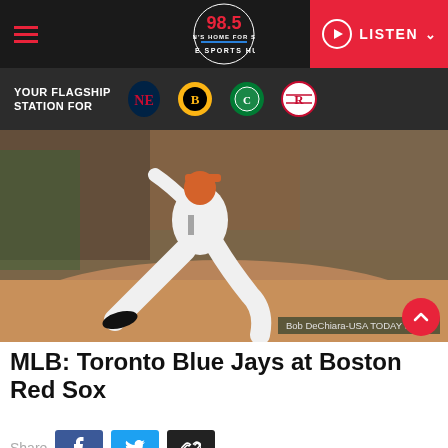BOSTON'S HOME FOR SPORTS — 98.5 THE SPORTS HUB — LISTEN
YOUR FLAGSHIP STATION FOR
[Figure (photo): Baseball pitcher in white uniform mid-pitch on a dirt mound, fans in background. Photo credit: Bob DeChiara-USA TODAY Sports]
Bob DeChiara-USA TODAY Sports
MLB: Toronto Blue Jays at Boston Red Sox
Share